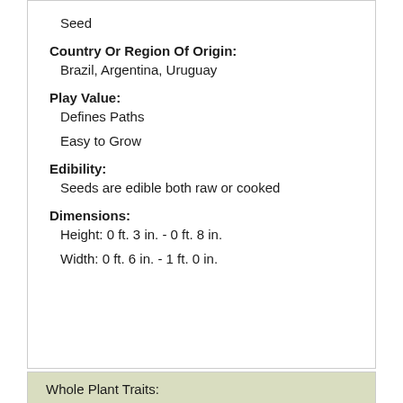Seed
Country Or Region Of Origin:
Brazil, Argentina, Uruguay
Play Value:
Defines Paths
Easy to Grow
Edibility:
Seeds are edible both raw or cooked
Dimensions:
Height: 0 ft. 3 in. - 0 ft. 8 in.
Width: 0 ft. 6 in. - 1 ft. 0 in.
Whole Plant Traits:
Plant Type:
Annual